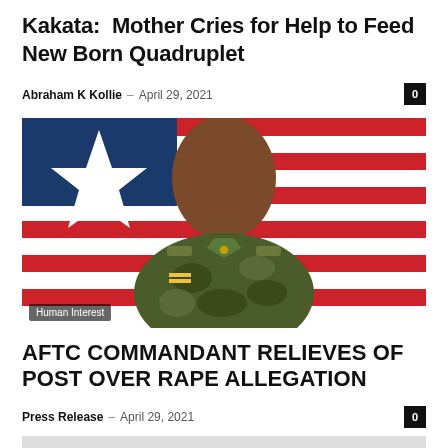Kakata:  Mother Cries for Help to Feed New Born Quadruplet
Abraham K Kollie – April 29, 2021
[Figure (photo): A soldier in camouflage uniform standing in front of the Liberian flag (red, white and blue with a star). Category label: Human Interest.]
AFTC COMMANDANT RELIEVES OF POST OVER RAPE ALLEGATION
Press Release – April 29, 2021